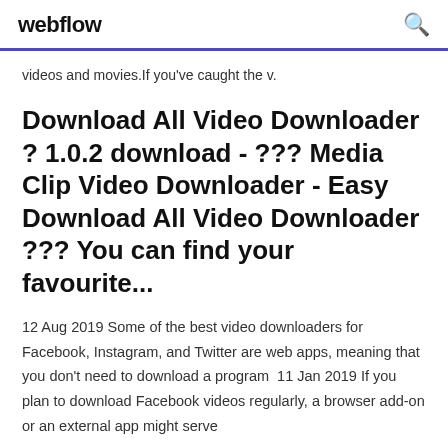webflow
videos and movies.If you've caught the v.
Download All Video Downloader ? 1.0.2 download - ??? Media Clip Video Downloader - Easy Download All Video Downloader ??? You can find your favourite...
12 Aug 2019 Some of the best video downloaders for Facebook, Instagram, and Twitter are web apps, meaning that you don't need to download a program  11 Jan 2019 If you plan to download Facebook videos regularly, a browser add-on or an external app might serve